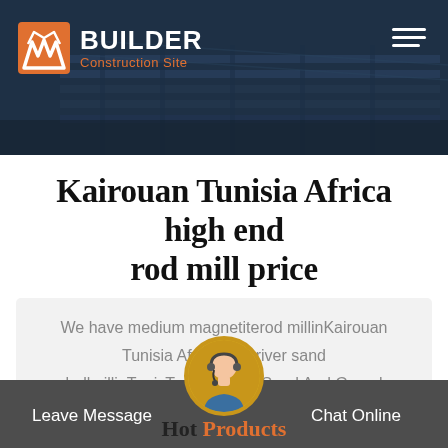BUILDER Construction Site
Kairouan Tunisia Africa high end rod mill price
We have medium magnetiterod millinKairouan Tunisia Africa,new river sand ballmillinTunisTunisiaAfrica,Sand And Gravel Crushing PlantTunisiaSand And Gravel…
Leave Message   Chat Online